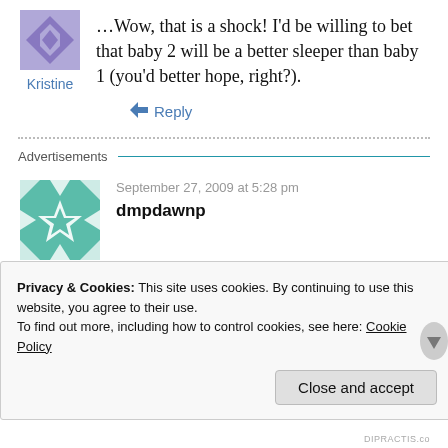that baby 2 will be a better sleeper than baby 1 (you'd better hope, right?).
Kristine
↳ Reply
Advertisements
September 27, 2009 at 5:28 pm
dmpdawnp
Privacy & Cookies: This site uses cookies. By continuing to use this website, you agree to their use. To find out more, including how to control cookies, see here: Cookie Policy
Close and accept